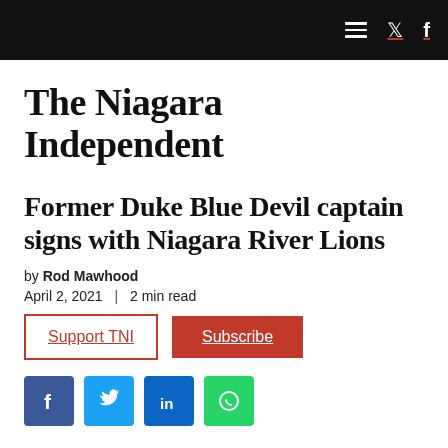The Niagara Independent — navigation bar with hamburger menu, Twitter and Facebook icons
The Niagara Independent
Former Duke Blue Devil captain signs with Niagara River Lions
by Rod Mawhood
April 2, 2021  |  2 min read
Support TNI  Subscribe
Share buttons: Facebook, Twitter, LinkedIn, WhatsApp